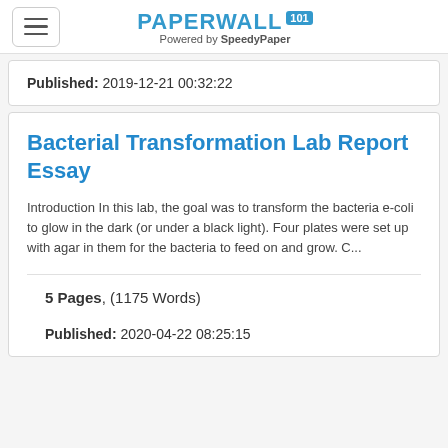PAPERWALL 101 — Powered by SpeedyPaper
Published: 2019-12-21 00:32:22
Bacterial Transformation Lab Report Essay
Introduction In this lab, the goal was to transform the bacteria e-coli to glow in the dark (or under a black light). Four plates were set up with agar in them for the bacteria to feed on and grow. C...
5 Pages, (1175 Words)
Published: 2020-04-22 08:25:15